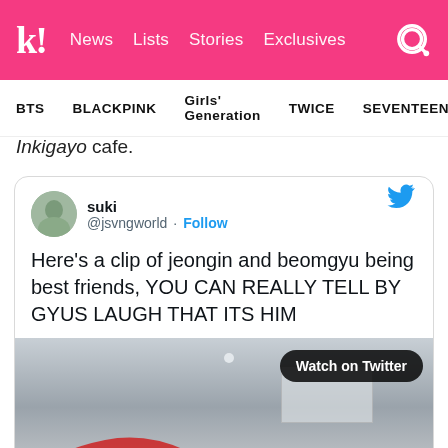Koreaboo — News | Lists | Stories | Exclusives
BTS  BLACKPINK  Girls' Generation  TWICE  SEVENTEEN
Inkigayo cafe.
[Figure (screenshot): Embedded tweet from @jsvngworld (suki) with text: Here's a clip of jeongin and beomgyu being best friends, YOU CAN REALLY TELL BY GYUS LAUGH THAT ITS HIM — with a video preview showing 'Watch on Twitter' button]
suki @jsvngworld · Follow
Here's a clip of jeongin and beomgyu being best friends, YOU CAN REALLY TELL BY GYUS LAUGH THAT ITS HIM